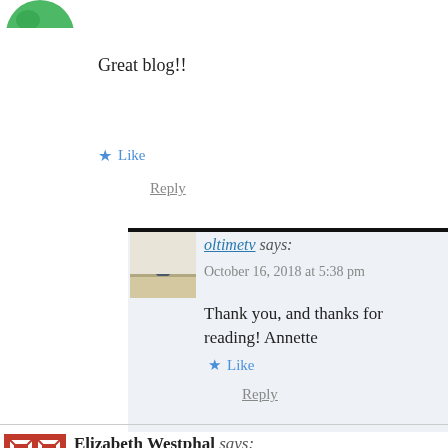[Figure (illustration): Partial green avatar icon cropped at top of page]
Great blog!!
★ Like
Reply
[Figure (photo): Small thumbnail photo of flowers in a vase on a table]
oltimetv says:
October 16, 2018 at 5:38 pm
Thank you, and thanks for reading! Annette
★ Like
Reply
[Figure (illustration): Red and white quilt-pattern square avatar for Elizabeth Westphal]
Elizabeth Westphal says:
October 16, 2018 at 10:53 pm